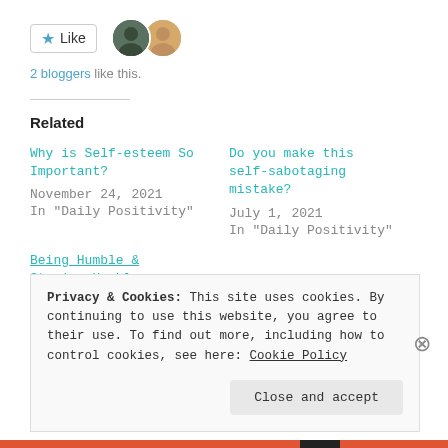[Figure (other): Like button with star icon and two blogger avatar photos]
2 bloggers like this.
Related
Why is Self-esteem So Important?
November 24, 2021
In "Daily Positivity"
Do you make this self-sabotaging mistake?
July 1, 2021
In "Daily Positivity"
Being Humble & Staying Humble
Privacy & Cookies: This site uses cookies. By continuing to use this website, you agree to their use.
To find out more, including how to control cookies, see here: Cookie Policy
Close and accept